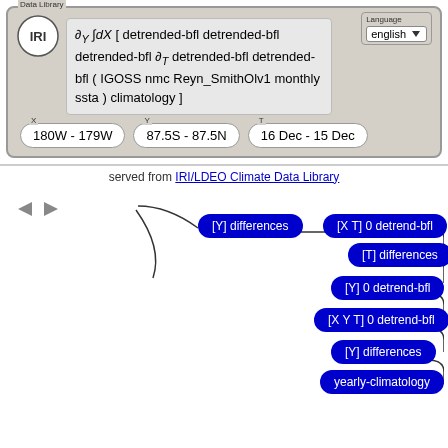[Figure (screenshot): IRI Data Library web interface showing formula with partial derivatives and integral notation for detrended-bfl operations on IGOSS nmc Reyn_SmithOlv1 monthly ssta climatology, with coordinate selectors for X (180W-179W), Y (87.5S-87.5N), and T (16 Dec - 15 Dec), English language selector, and IRI logo.]
served from IRI/LDEO Climate Data Library
[Figure (flowchart): Flowchart showing sequence of operations: [Y] differences -> [X T] 0 detrend-bfl -> [T] differences, then [Y] 0 detrend-bfl, [X Y T] 0 detrend-bfl, [Y] differences, yearly-climatology, 0.0 [X] integrate, connected by curved lines in a cascading pattern.]